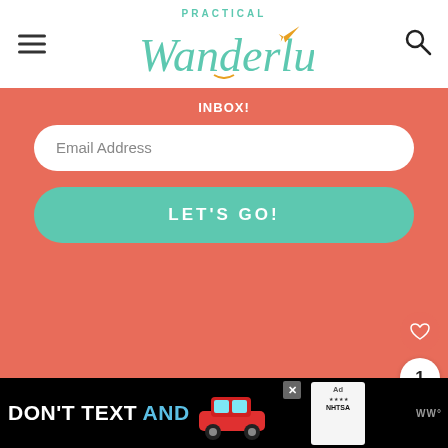[Figure (logo): Practical Wanderlust website logo with hamburger menu and search icon]
INBOX!
[Figure (screenshot): Email subscription form with Email Address input field and LET'S GO! button on coral/orange-red background]
COPYRIGHT ©2022, PRACTICAL WANDERLUST. SITE BY PIXE' DESIGNS
AS AN AMAZON AFFILIATE, WE EARN FROM QUALIFYING PURCHASES
[Figure (photo): Advertisement banner: DON'T TEXT AND with car graphic, ad badge and NHTSA logo]